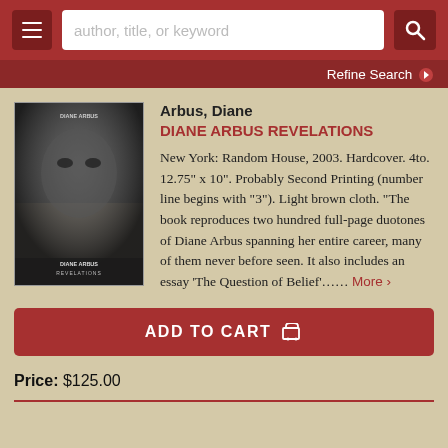author, title, or keyword
Refine Search
[Figure (photo): Book cover of Diane Arbus Revelations showing a black and white close-up photograph of a face]
Arbus, Diane
DIANE ARBUS REVELATIONS
New York: Random House, 2003. Hardcover. 4to. 12.75" x 10". Probably Second Printing (number line begins with "3"). Light brown cloth. "The book reproduces two hundred full-page duotones of Diane Arbus spanning her entire career, many of them never before seen. It also includes an essay 'The Question of Belief'...... More >
ADD TO CART
Price: $125.00